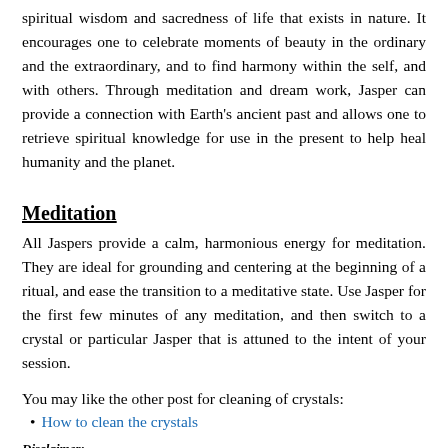spiritual wisdom and sacredness of life that exists in nature. It encourages one to celebrate moments of beauty in the ordinary and the extraordinary, and to find harmony within the self, and with others. Through meditation and dream work, Jasper can provide a connection with Earth's ancient past and allows one to retrieve spiritual knowledge for use in the present to help heal humanity and the planet.
Meditation
All Jaspers provide a calm, harmonious energy for meditation. They are ideal for grounding and centering at the beginning of a ritual, and ease the transition to a meditative state. Use Jasper for the first few minutes of any meditation, and then switch to a crystal or particular Jasper that is attuned to the intent of your session.
You may like the other post for cleaning of crystals:
How to clean the crystals
Disclaimer: